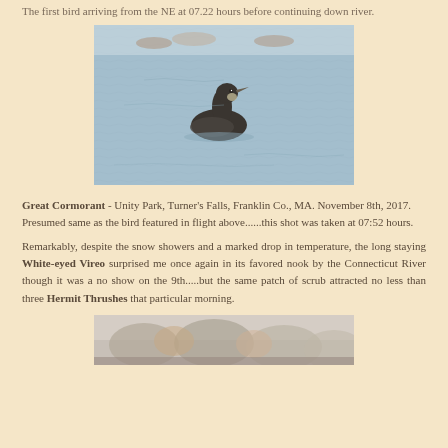The first bird arriving from the NE at 07.22 hours before continuing down river.
[Figure (photo): A Great Cormorant swimming on water at Unity Park, Turner's Falls, Franklin Co., MA. November 8th, 2017.]
Great Cormorant - Unity Park, Turner's Falls, Franklin Co., MA. November 8th, 2017. Presumed same as the bird featured in flight above......this shot was taken at 07:52 hours.
Remarkably, despite the snow showers and a marked drop in temperature, the long staying White-eyed Vireo surprised me once again in its favored nook by the Connecticut River though it was a no show on the 9th.....but the same patch of scrub attracted no less than three Hermit Thrushes that particular morning.
[Figure (photo): Partial bottom photo, appears to show a misty landscape scene.]